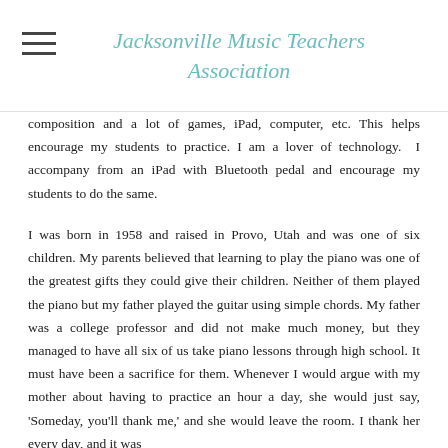Jacksonville Music Teachers Association
composition and a lot of games, iPad, computer, etc. This helps encourage my students to practice. I am a lover of technology.  I accompany from an iPad with Bluetooth pedal and encourage my students to do the same.
I was born in 1958 and raised in Provo, Utah and was one of six children. My parents believed that learning to play the piano was one of the greatest gifts they could give their children. Neither of them played the piano but my father played the guitar using simple chords. My father was a college professor and did not make much money, but they managed to have all six of us take piano lessons through high school. It must have been a sacrifice for them. Whenever I would argue with my mother about having to practice an hour a day, she would just say, 'Someday, you'll thank me,' and she would leave the room. I thank her every day, and it was